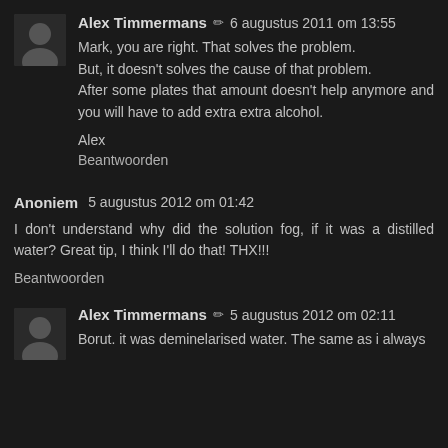Alex Timmermans ✏ 6 augustus 2011 om 13:55
Mark, you are right. That solves the problem.
But, it doesn't solves the cause of that problem.
After some plates that amount doesn't help anymore and you will have to add extra extra alcohol.

Alex
Beantwoorden
Anoniem 5 augustus 2012 om 01:42
I don't understand why did the solution fog, if it was a distilled water? Great tip, I think I'll do that! THX!!!
Beantwoorden
Alex Timmermans ✏ 5 augustus 2012 om 02:11
Borut. it was deminelarised water. The same as i always